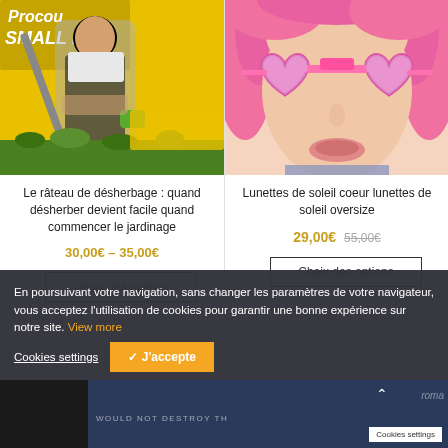[Figure (photo): Man in apron holding garden tools on yellow background with grass and hoe text overlay]
Le râteau de désherbage : quand désherber devient facile quand commencer le jardinage
30,00€ – 35,00€
Choix des options
[Figure (photo): Woman with pink hair wearing pink heart-shaped oversized sunglasses]
Lunettes de soleil coeur lunettes de soleil oversize
29,00€ 55,00€
Choix des options
En poursuivant votre navigation, sans changer les paramètres de votre navigateur, vous acceptez l'utilisation de cookies pour garantir une bonne expérience sur notre site. View more
Cookies settings
✓ J'accepte